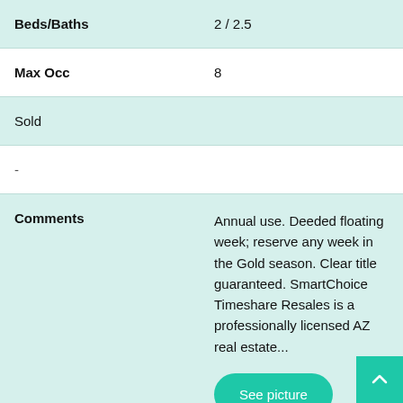| Field | Value |
| --- | --- |
| Beds/Baths | 2 / 2.5 |
| Max Occ | 8 |
| Sold |  |
| - |  |
| Comments | Annual use. Deeded floating week; reserve any week in the Gold season. Clear title guaranteed. SmartChoice Timeshare Resales is a professionally licensed AZ real estate... |
| Week | Float |